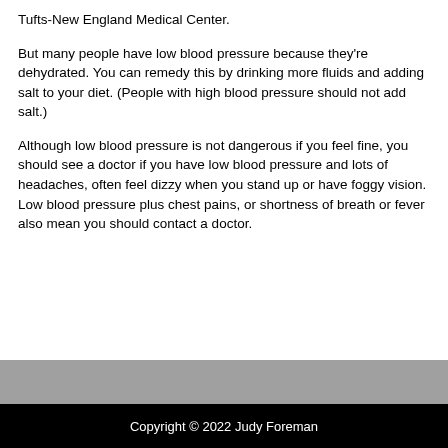Tufts-New England Medical Center.
But many people have low blood pressure because they're dehydrated. You can remedy this by drinking more fluids and adding salt to your diet. (People with high blood pressure should not add salt.)
Although low blood pressure is not dangerous if you feel fine, you should see a doctor if you have low blood pressure and lots of headaches, often feel dizzy when you stand up or have foggy vision. Low blood pressure plus chest pains, or shortness of breath or fever also mean you should contact a doctor.
Copyright © 2022 Judy Foreman